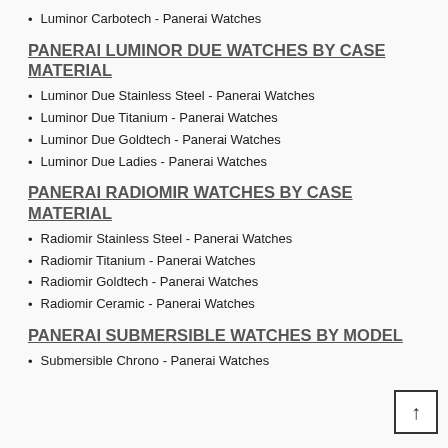Luminor Carbotech - Panerai Watches
PANERAI LUMINOR DUE WATCHES BY CASE MATERIAL
Luminor Due Stainless Steel - Panerai Watches
Luminor Due Titanium - Panerai Watches
Luminor Due Goldtech - Panerai Watches
Luminor Due Ladies - Panerai Watches
PANERAI RADIOMIR WATCHES BY CASE MATERIAL
Radiomir Stainless Steel - Panerai Watches
Radiomir Titanium - Panerai Watches
Radiomir Goldtech - Panerai Watches
Radiomir Ceramic - Panerai Watches
PANERAI SUBMERSIBLE WATCHES BY MODEL
Submersible Chrono - Panerai Watches